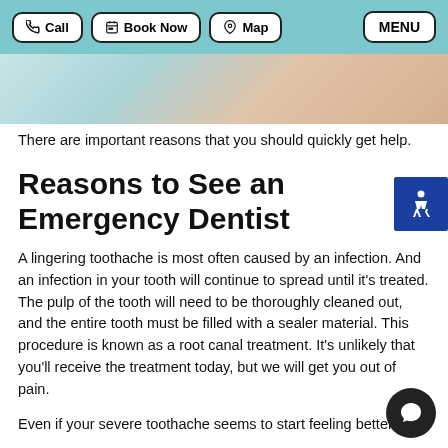Call | Book Now | Map | MENU
[Figure (photo): Partial view of a dental office or person, teal/skin tones visible as a photo strip]
There are important reasons that you should quickly get help.
Reasons to See an Emergency Dentist
A lingering toothache is most often caused by an infection. And an infection in your tooth will continue to spread until it's treated. The pulp of the tooth will need to be thoroughly cleaned out, and the entire tooth must be filled with a sealer material. This procedure is known as a root canal treatment. It's unlikely that you'll receive the treatment today, but we will get you out of pain.
Even if your severe toothache seems to start feeling better,